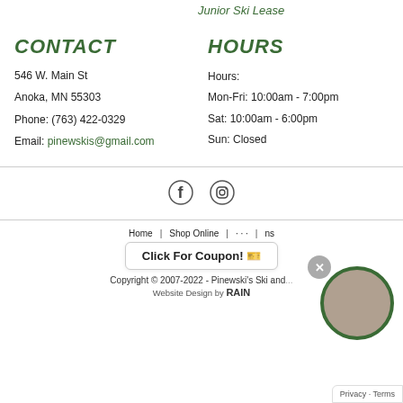Junior Ski Lease
CONTACT
546 W. Main St
Anoka, MN 55303

Phone: (763) 422-0329
Email: pinewskis@gmail.com
HOURS
Hours:
Mon-Fri: 10:00am - 7:00pm
Sat: 10:00am - 6:00pm
Sun: Closed
[Figure (other): Social media icons: Facebook and Instagram]
Home | Shop Online | ... | ...
Click For Coupon! 🎫
Copyright © 2007-2022 - Pinewski's Ski and...
Website Design by RAIN